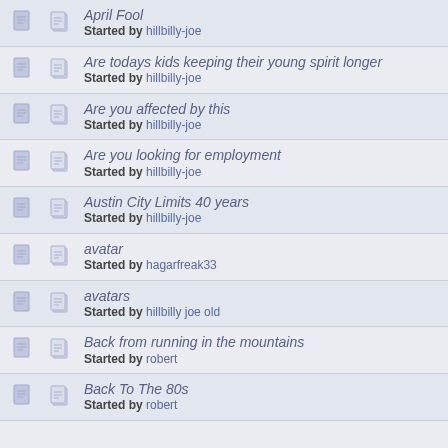April Fool — Started by hillbilly-joe
Are todays kids keeping their young spirit longer — Started by hillbilly-joe
Are you affected by this — Started by hillbilly-joe
Are you looking for employment — Started by hillbilly-joe
Austin City Limits 40 years — Started by hillbilly-joe
avatar — Started by hagarfreak33
avatars — Started by hillbilly joe old
Back from running in the mountains — Started by robert
Back To The 80s — Started by robert